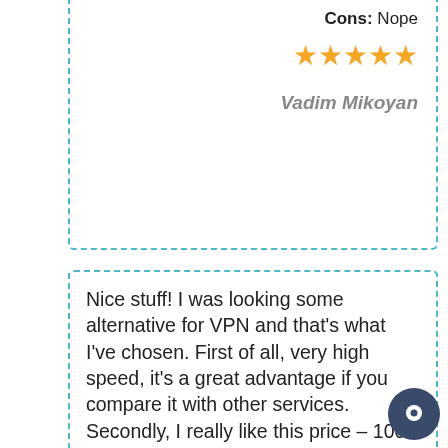Cons: Nope
[Figure (illustration): Five gold star rating]
Vadim Mikoyan
Nice stuff! I was looking some alternative for VPN and that's what I've chosen. First of all, very high speed, it's a great advantage if you compare it with other services. Secondly, I really like this price – 1000 IPs for 21,9 $ that's what I'm here for:) usually I buy European IPs, but in fact there are some packs of Ukrainian, Russian and American IPs. Thank you for service, guys!
1000 proxy
Pros: High speed, price
Cons: No
[Figure (illustration): Partial five gold star rating at bottom]